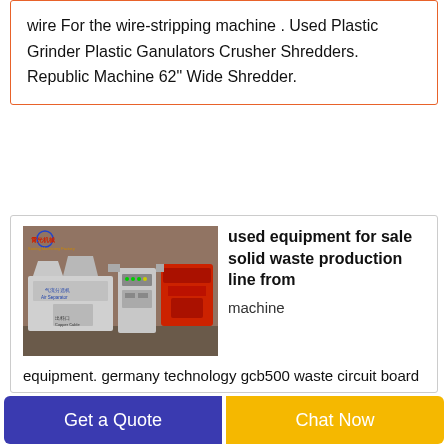wire For the wire-stripping machine . Used Plastic Grinder Plastic Ganulators Crusher Shredders. Republic Machine 62" Wide Shredder.
[Figure (photo): Industrial solid waste production line machinery including air separator, control panel, and shredder equipment.]
used equipment for sale solid waste production line from
machine
equipment. germany technology gcb500 waste circuit board for copper recycling parovi machines solid waste production line for scrap cars dundee scapcar goiania for electrostatic metal plastics haggerty metals sl800 plastic
Get a Quote
Chat Now